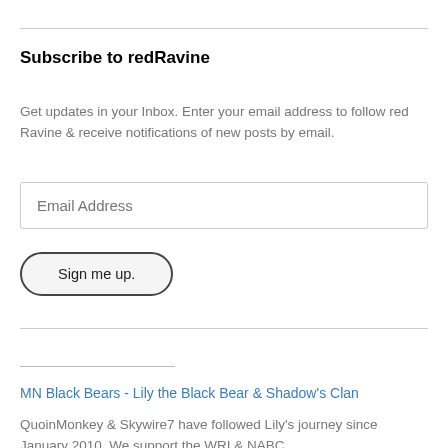Subscribe to redRavine
Get updates in your Inbox. Enter your email address to follow red Ravine & receive notifications of new posts by email.
Email Address
Sign me up.
MN Black Bears - Lily the Black Bear & Shadow's Clan
QuoinMonkey & Skywire7 have followed Lily's journey since January 2010. We support the WRI & NABC.